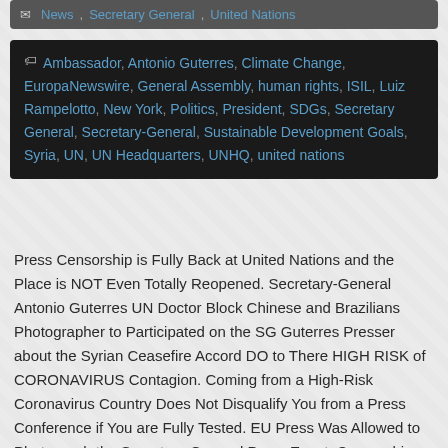News, Secretary General, United Nations
Ambassador, Antonio Guterres, Climate Change, EuropaNewswire, General Assembly, human rights, ISIL, Luiz Rampelotto, New York, Politics, President, SDGs, Secretary General, Secretary-General, Sustainable Development Goals, Syria, UN, UN Headquarters, UNHQ, united nations
Press Censorship is Fully Back at United Nations and the Place is NOT Even Totally Reopened. Secretary-General Antonio Guterres UN Doctor Block Chinese and Brazilians Photographer to Participated on the SG Guterres Presser about the Syrian Ceasefire Accord DO to There HIGH RISK of CORONAVIRUS Contagion. Coming from a High-Risk Coronavirus Country Does Not Disqualify You from a Press Conference if You are Fully Tested. EU Press Was Allowed to Photograph the Secretary-General Press Event. Censorship or Discrimination? Source: EuropaNewswire